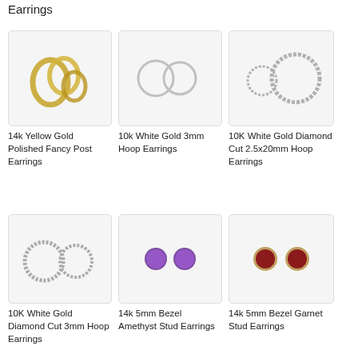Earrings
[Figure (photo): 14k Yellow Gold Polished Fancy Post Earrings product image]
14k Yellow Gold Polished Fancy Post Earrings
[Figure (photo): 10k White Gold 3mm Hoop Earrings product image]
10k White Gold 3mm Hoop Earrings
[Figure (photo): 10K White Gold Diamond Cut 2.5x20mm Hoop Earrings product image]
10K White Gold Diamond Cut 2.5x20mm Hoop Earrings
[Figure (photo): 10K White Gold Diamond Cut 3mm Hoop Earrings product image]
10K White Gold Diamond Cut 3mm Hoop Earrings
[Figure (photo): 14k 5mm Bezel Amethyst Stud Earrings product image]
14k 5mm Bezel Amethyst Stud Earrings
[Figure (photo): 14k 5mm Bezel Garnet Stud Earrings product image]
14k 5mm Bezel Garnet Stud Earrings